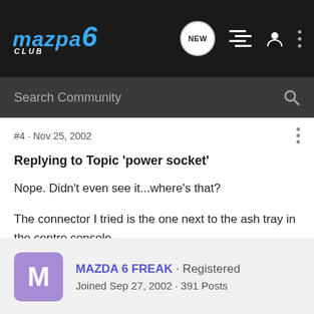Mazda 6 Club — Navigation header with logo, NEW, list, user, and menu icons
Search Community
#4 · Nov 25, 2002
Replying to Topic 'power socket'
Nope. Didn't even see it...where's that?
The connector I tried is the one next to the ash tray in the centre console.
MAZDA 6 FREAK · Registered
Joined Sep 27, 2002 · 391 Posts